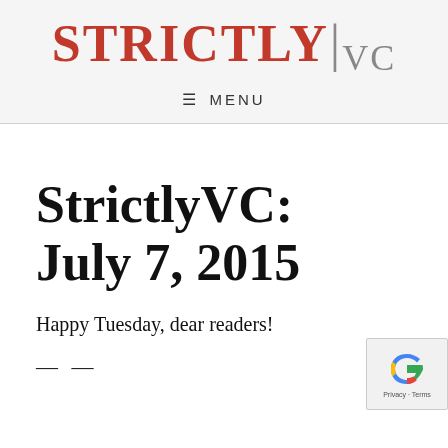[Figure (logo): StrictlyVC logo with STRICTLY in bold red and VC in grey with a vertical divider line]
≡  MENU
StrictlyVC: July 7, 2015
Happy Tuesday, dear readers!
— —